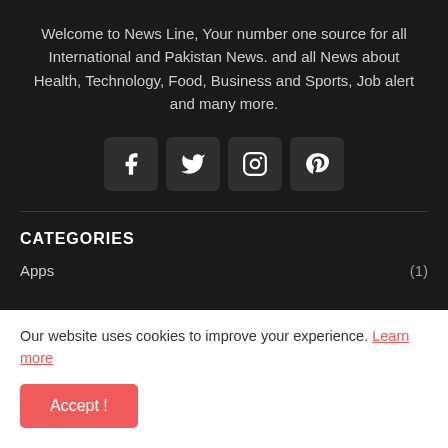Welcome to News Line, Your number one source for all International and Pakistan News. and all News about Health, Technology, Food, Business and Sports, Job alert and many more.
[Figure (other): Four social media icon buttons: Facebook, Twitter, Instagram, Pinterest — dark square buttons with white icons]
CATEGORIES
Apps (1)
Our website uses cookies to improve your experience. Learn more
Accept !